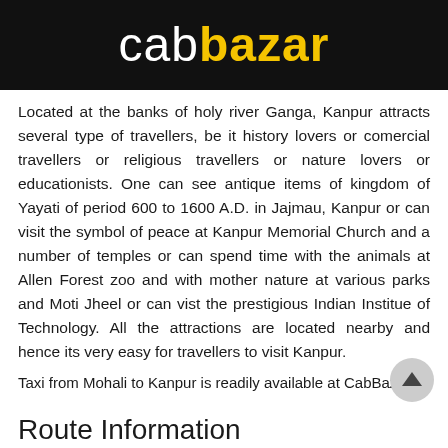cabbazar
Located at the banks of holy river Ganga, Kanpur attracts several type of travellers, be it history lovers or comercial travellers or religious travellers or nature lovers or educationists. One can see antique items of kingdom of Yayati of period 600 to 1600 A.D. in Jajmau, Kanpur or can visit the symbol of peace at Kanpur Memorial Church and a number of temples or can spend time with the animals at Allen Forest zoo and with mother nature at various parks and Moti Jheel or can vist the prestigious Indian Institue of Technology. All the attractions are located nearby and hence its very easy for travellers to visit Kanpur.
Taxi from Mohali to Kanpur is readily available at CabBazar.
Route Information
Mohali to Kanpur by car is well connected through Taj